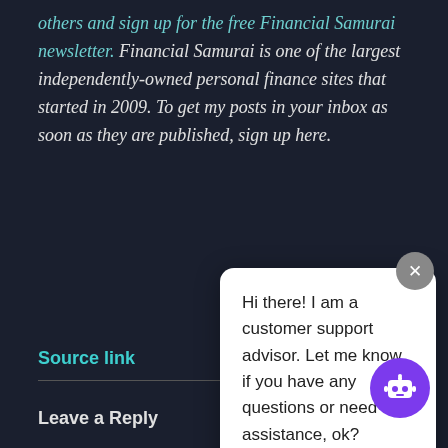others and sign up for the free Financial Samurai newsletter. Financial Samurai is one of the largest independently-owned personal finance sites that started in 2009. To get my posts in your inbox as soon as they are published, sign up here.
Source link
Leave a Reply
Your email address will not be published. Required fields are marked *
Comment *
[Figure (screenshot): Chat popup overlay with close button (x) and robot avatar. Popup text: 'Hi there! I am a customer support advisor. Let me know if you have any questions or need assistance, ok?']